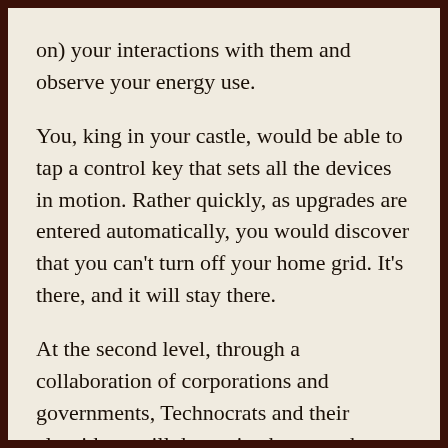on) your interactions with them and observe your energy use.
You, king in your castle, would be able to tap a control key that sets all the devices in motion. Rather quickly, as upgrades are entered automatically, you would discover that you can’t turn off your home grid. It’s there, and it will stay there.
At the second level, through a collaboration of corporations and governments, Technocrats and their algorithms will determine how much energy you can use. That means quotas. At first, and for a time, if you want to exceed your quota, you’ll be able to pay for more energy. At some point in the future, this